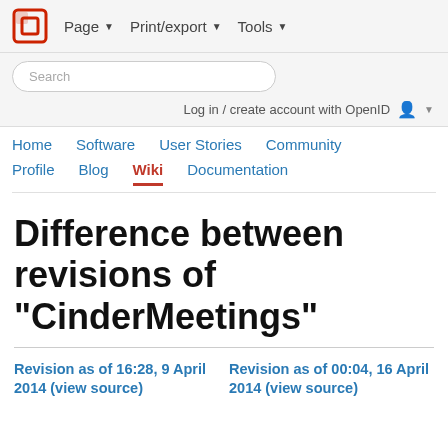Page ▾   Print/export ▾   Tools ▾
Search
Log in / create account with OpenID
Home   Software   User Stories   Community   Profile   Blog   Wiki   Documentation
Difference between revisions of "CinderMeetings"
Revision as of 16:28, 9 April 2014 (view source)
Revision as of 00:04, 16 April 2014 (view source)